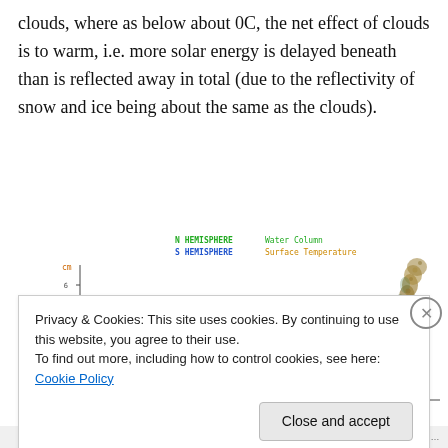clouds, where as below about 0C, the net effect of clouds is to warm, i.e. more solar energy is delayed beneath than is reflected away in total (due to the reflectivity of snow and ice being about the same as the clouds).
[Figure (continuous-plot): Scatter/density plot with axes labeled 'cm' on y-axis. Legend shows 'N HEMISPHERE Water Column' in green and 'S HEMISPHERE Surface Temperature' in blue/orange. A curved dense cluster of points (brownish/olive colored) curves upward in the upper right area of the plot.]
Privacy & Cookies: This site uses cookies. By continuing to use this website, you agree to their use.
To find out more, including how to control cookies, see here: Cookie Policy